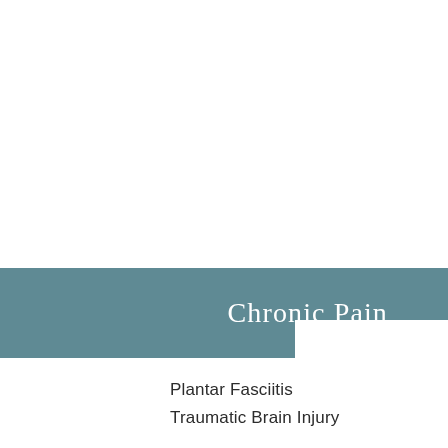Chronic Pain
Plantar Fasciitis
Traumatic Brain Injury